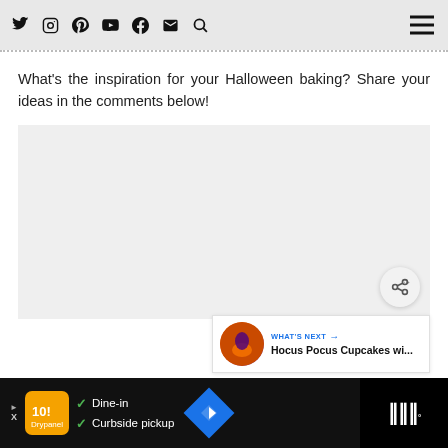Social media navigation bar with Twitter, Instagram, Pinterest, YouTube, Facebook, Email, Search icons and hamburger menu
What's the inspiration for your Halloween baking? Share your ideas in the comments below!
[Figure (other): Large light grey comment/content placeholder box]
[Figure (other): What's Next card showing Hocus Pocus Cupcakes wi... with circular food image]
Ad bar: Dine-in / Curbside pickup advertisement with logo, navigation icon and Waze icon